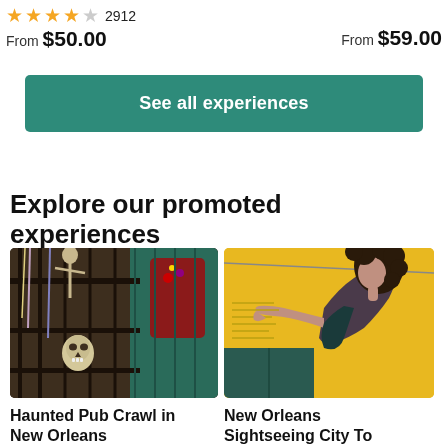2912 — From $50.00 (left) | From $59.00 (right, partial)
See all experiences
Explore our promoted experiences
[Figure (photo): Haunted balcony scene with skeleton decorations, beads, and a skull in New Orleans]
Haunted Pub Crawl in New Orleans
[Figure (photo): Yellow building with a large street mural of a woman with curly hair reaching outward]
New Orleans Sightseeing City To (truncated)